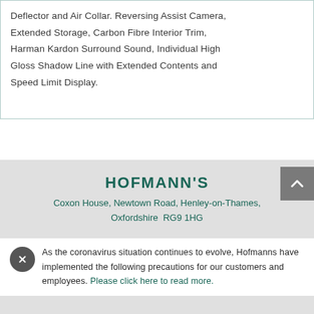Deflector and Air Collar. Reversing Assist Camera, Extended Storage, Carbon Fibre Interior Trim, Harman Kardon Surround Sound, Individual High Gloss Shadow Line with Extended Contents and Speed Limit Display.
HOFMANN'S
Coxon House, Newtown Road, Henley-on-Thames, Oxfordshire  RG9 1HG
As the coronavirus situation continues to evolve, Hofmanns have implemented the following precautions for our customers and employees. Please click here to read more.